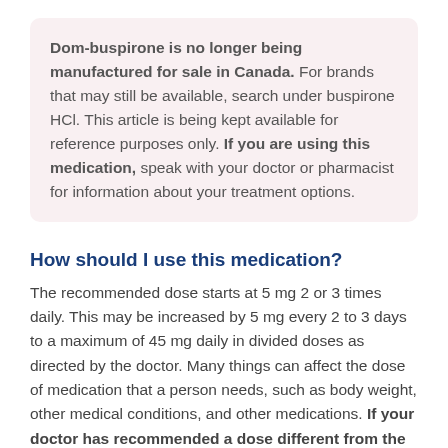Dom-buspirone is no longer being manufactured for sale in Canada. For brands that may still be available, search under buspirone HCl. This article is being kept available for reference purposes only. If you are using this medication, speak with your doctor or pharmacist for information about your treatment options.
How should I use this medication?
The recommended dose starts at 5 mg 2 or 3 times daily. This may be increased by 5 mg every 2 to 3 days to a maximum of 45 mg daily in divided doses as directed by the doctor. Many things can affect the dose of medication that a person needs, such as body weight, other medical conditions, and other medications. If your doctor has recommended a dose different from the ones listed here, do not change the way that you are taking the medication without consulting your doctor.